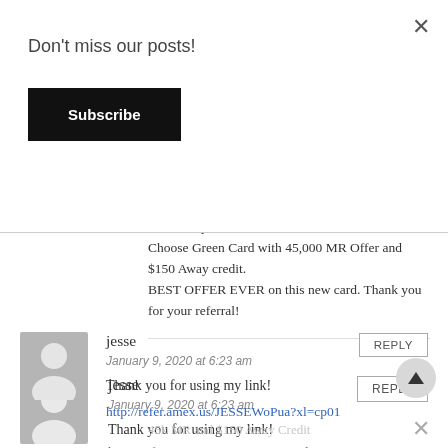×
Don't miss our posts!
Subscribe
Open Chrome in incognito.
Go to 'all personal cards' to see the full list of cards.
Choose Green Card with 45,000 MR Offer and $150 Away credit.
BEST OFFER EVER on this new card. Thank you for your referral!
jesse
January 9, 2020 at 6:23 am
REPLY
Thank you for using my link!
http://refer.amex.us/JESSEWoPua?xl=cp01
45k MR and $150 Away Credit
×